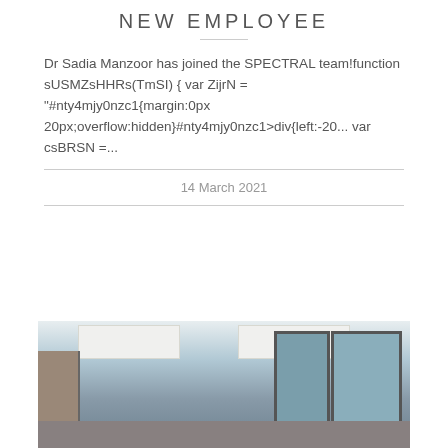NEW EMPLOYEE
Dr Sadia Manzoor has joined the SPECTRAL team!function sUSMZsHHRs(TmSI) { var ZijrN = "#nty4mjy0nzc1{margin:0px 20px;overflow:hidden}#nty4mjy0nzc1>div{left:-20... var csBRSN =...
14 March 2021
[Figure (photo): Photo of a laboratory or office workspace interior showing ceiling panels with lights, shelving on the left, windows with blinds on the right side, and equipment/furniture in the space.]